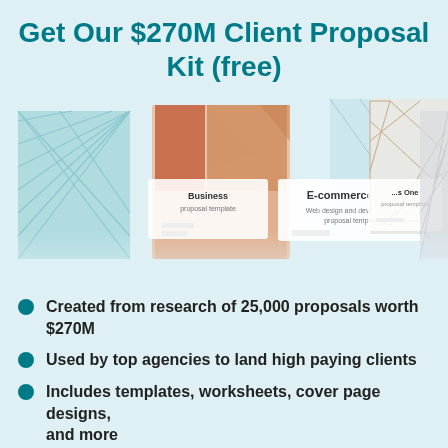Get Our $270M Client Proposal Kit (free)
[Figure (illustration): A collage of proposal kit document covers including 'Business', 'E-commerce One', and other templates with various abstract geometric and architectural imagery, overlapping in a fan-like arrangement.]
Created from research of 25,000 proposals worth $270M
Used by top agencies to land high paying clients
Includes templates, worksheets, cover page designs, and more